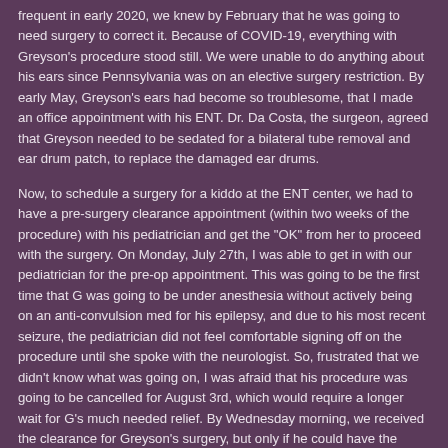frequent in early 2020, we knew by February that he was going to need surgery to correct it. Because of COVID-19, everything with Greyson's procedure stood still. We were unable to do anything about his ears since Pennsylvania was on an elective surgery restriction. By early May, Greyson's ears had become so troublesome, that I made an office appointment with his ENT. Dr. Da Costa, the surgeon, agreed that Greyson needed to be sedated for a bilateral tube removal and ear drum patch, to replace the damaged ear drums.
Now, to schedule a surgery for a kiddo at the ENT center, we had to have a pre-surgery clearance appointment (within two weeks of the procedure) with his pediatrician and get the "OK" from her to proceed with the surgery. On Monday, July 27th, I was able to get in with our pediatrician for the pre-op appointment. This was going to be the first time that G was going to be under anesthesia without actively being on an anti-convulsion med for his epilepsy, and due to his most recent seizure, the pediatrician did not feel comfortable signing off on the procedure until she spoke with the neurologist. So, frustrated that we didn't know what was going on, I was afraid that his procedure was going to be cancelled for August 3rd, which would require a longer wait for G's much needed relief. By Wednesday morning, we received the clearance for Greyson's surgery, but only if he could have the procedure done at a hospital, rather than the small outpatient center we typically go to for these types of day surgeries. I received a call from the surgery scheduler at the ENT office and she stated that she had one cancellation for August 5th at Lancaster General Hospital, but if we couldn't make that work, we were looking into late October for the surgery. I refused to wait that long for Greyson. I knew that once fall comes, he is more prone to getting a cold, which almost always involves some sort of